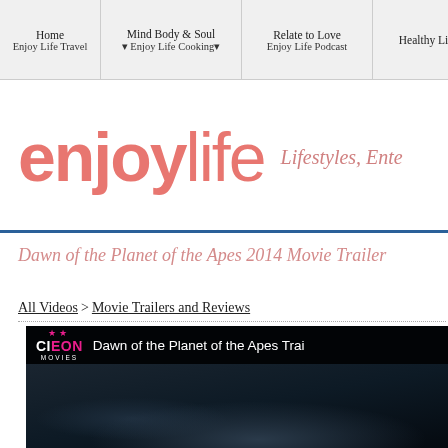Home | Mind Body & Soul | Relate to Love | Healthy Life | Enjoy Life Travel | Enjoy Life Cooking | Enjoy Life Podcast
[Figure (logo): enjoylife logo with tagline 'Lifestyles, Ente...']
Dawn of the Planet of the Apes 2014 Movie Trailer
All Videos > Movie Trailers and Reviews
[Figure (screenshot): Video player showing Dawn of the Planet of the Apes Trailer with CIEON MOVIES logo overlay on dark background]